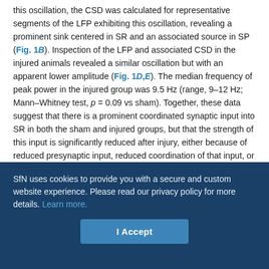this oscillation, the CSD was calculated for representative segments of the LFP exhibiting this oscillation, revealing a prominent sink centered in SR and an associated source in SP (Fig. 1B). Inspection of the LFP and associated CSD in the injured animals revealed a similar oscillation but with an apparent lower amplitude (Fig. 1D,E). The median frequency of peak power in the injured group was 9.5 Hz (range, 9–12 Hz; Mann–Whitney test, p = 0.09 vs sham). Together, these data suggest that there is a prominent coordinated synaptic input into SR in both the sham and injured groups, but that the strength of this input is significantly reduced after injury, either because of reduced presynaptic input, reduced coordination of that input, or both.
SfN uses cookies to provide you with a secure and custom website experience. Please read our privacy policy for more details. Learn more.